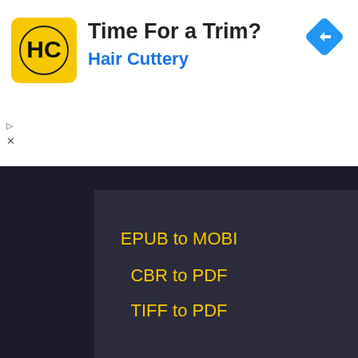[Figure (screenshot): Ad banner for Hair Cuttery with logo, title 'Time For a Trim?', subtitle 'Hair Cuttery', navigation arrow icon, and ad controls]
EPUB to MOBI
CBR to PDF
TIFF to PDF
WEBP to PNG
WEBP to GIF
HEIC to PNG
XPS to PDF
BMP to JPG
MP4 to MP3